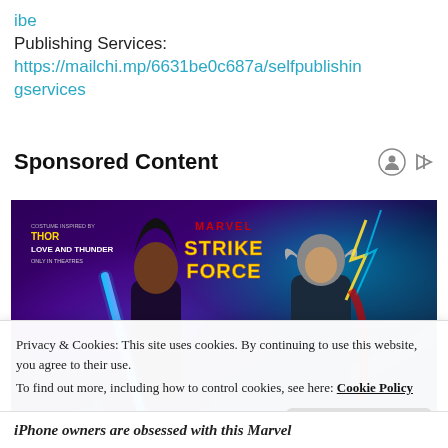ibe
Publishing Services:
https://mailchi.mp/6631be0c687a/selfpublishingservices
Sponsored Content
[Figure (illustration): Marvel Strike Force promotional banner featuring two female superhero characters. Left character holds a glowing blue sword; right character is dressed as Thor with lightning. Text reads 'COSTUME INSPIRED BY THOR LOVE AND THUNDER ONLY IN THEATRES' and 'MARVEL STRIKE FORCE' logo.]
Privacy & Cookies: This site uses cookies. By continuing to use this website, you agree to their use.
To find out more, including how to control cookies, see here: Cookie Policy
Close and accept
iPhone owners are obsessed with this Marvel